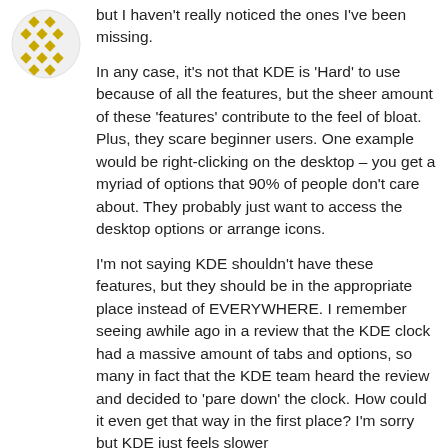[Figure (illustration): Golden/yellow decorative avatar icon with geometric diamond/cross pattern]
but I haven't really noticed the ones I've been missing.

In any case, it's not that KDE is 'Hard' to use because of all the features, but the sheer amount of these 'features' contribute to the feel of bloat. Plus, they scare beginner users. One example would be right-clicking on the desktop – you get a myriad of options that 90% of people don't care about. They probably just want to access the desktop options or arrange icons.

I'm not saying KDE shouldn't have these features, but they should be in the appropriate place instead of EVERYWHERE. I remember seeing awhile ago in a review that the KDE clock had a massive amount of tabs and options, so many in fact that the KDE team heard the review and decided to 'pare down' the clock. How could it even get that way in the first place? I'm sorry but KDE just feels slower